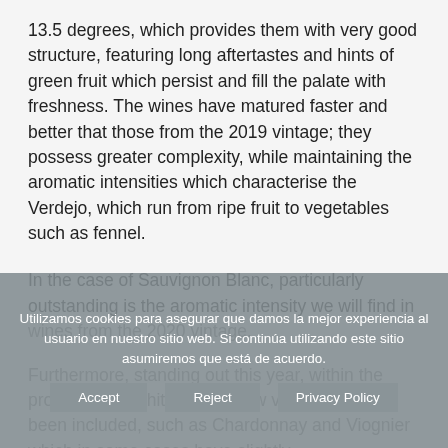13.5 degrees, which provides them with very good structure, featuring long aftertastes and hints of green fruit which persist and fill the palate with freshness. The wines have matured faster and better that those from the 2019 vintage; they possess greater complexity, while maintaining the aromatic intensities which characterise the Verdejo, which run from ripe fruit to vegetables such as fennel.
In the case of Sauvignon Blanc, particularly outstanding is the aromatic intensity we will find in wines from the 2020 vintage.
Furthermore, standing out this year, within the production of white wines, new varieties have been included, such as Chardonnay and Viognier which in some cases have slightly
Utilizamos cookies para asegurar que damos la mejor experiencia al usuario en nuestro sitio web. Si continúa utilizando este sitio asumiremos que está de acuerdo.